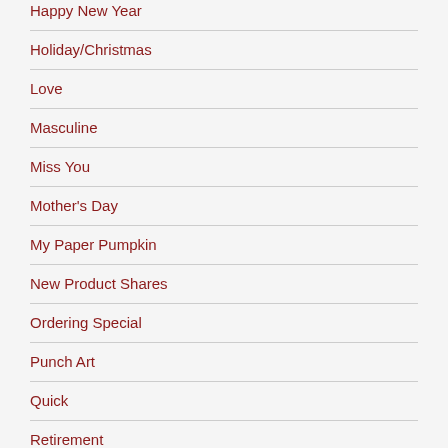Happy New Year
Holiday/Christmas
Love
Masculine
Miss You
Mother's Day
My Paper Pumpkin
New Product Shares
Ordering Special
Punch Art
Quick
Retirement
St. Patrick's Day
Stamp Room Storage